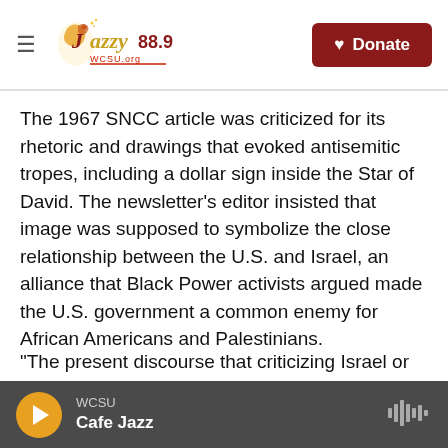Jazzy 88.9 | Donate
The 1967 SNCC article was criticized for its rhetoric and drawings that evoked antisemitic tropes, including a dollar sign inside the Star of David. The newsletter's editor insisted that image was supposed to symbolize the close relationship between the U.S. and Israel, an alliance that Black Power activists argued made the U.S. government a common enemy for African Americans and Palestinians.
"The present discourse that criticizing Israel or Zionism is somehow antisemitic really does, I
WCSU Cafe Jazz